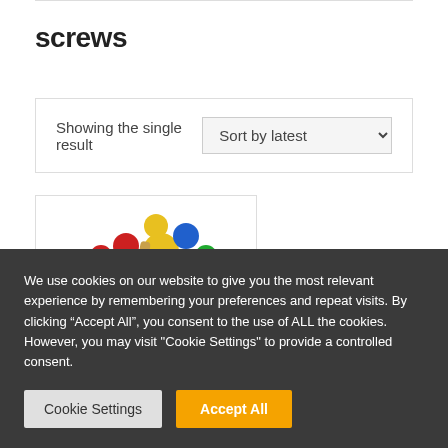screws
Showing the single result
[Figure (screenshot): A colorful wooden toy with screws and bolts in red, yellow, green, and blue, partially visible on the left side of the product card. A loading indicator text 'LOADING...' appears to the right.]
We use cookies on our website to give you the most relevant experience by remembering your preferences and repeat visits. By clicking “Accept All”, you consent to the use of ALL the cookies. However, you may visit "Cookie Settings" to provide a controlled consent.
Cookie Settings
Accept All